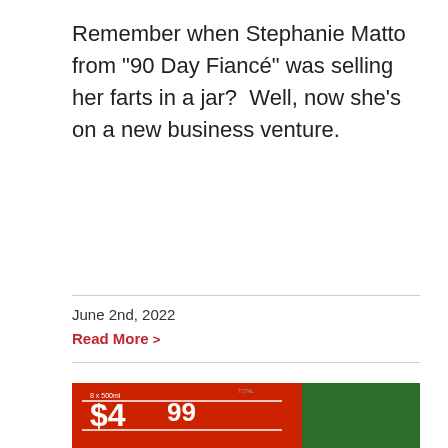Remember when Stephanie Matto from "90 Day Fiancé" was selling her farts in a jar?  Well, now she's on a new business venture.
June 2nd, 2022
Read More >
[Figure (photo): Close-up photo of a gas pump display showing TOTAL with $5.39 and 36.75 on the LCD screen, with a red price sign showing $4.99 in the background, and orange pump handles visible on the sides.]